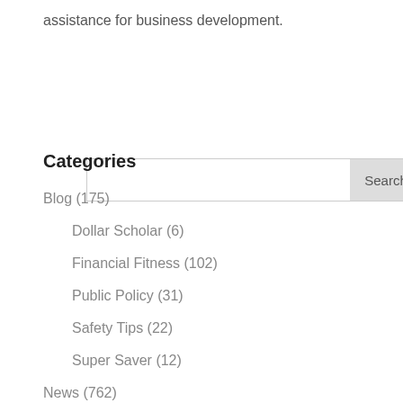assistance for business development.
Categories
Blog (175)
Dollar Scholar (6)
Financial Fitness (102)
Public Policy (31)
Safety Tips (22)
Super Saver (12)
News (762)